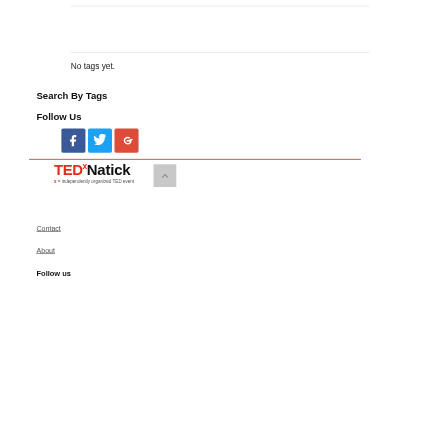No tags yet.
Search By Tags
Follow Us
[Figure (other): Social media icons: Facebook (blue), Twitter (light blue), Google+ (red)]
[Figure (logo): TEDx Natick logo with tagline: x = independently organized TED event]
Contact
About
Follow us